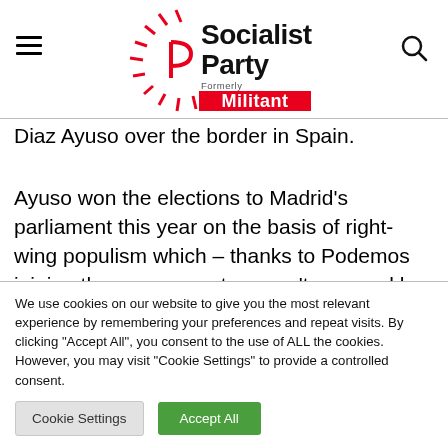[Figure (logo): Socialist Party (Formerly Militant) logo with red and black text and sunburst graphic]
Diaz Ayuso over the border in Spain.
Ayuso won the elections to Madrid's parliament this year on the basis of right-wing populism which – thanks to Podemos joining the government – wasn't exposed by a credible anti-establishment
We use cookies on our website to give you the most relevant experience by remembering your preferences and repeat visits. By clicking "Accept All", you consent to the use of ALL the cookies. However, you may visit "Cookie Settings" to provide a controlled consent.